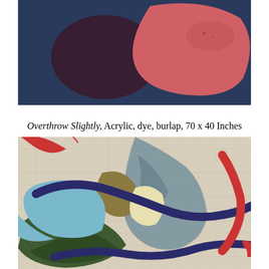[Figure (illustration): Abstract painting on dark navy/blue background with large coral-red/salmon organic shape on the right and a dark maroon-black form on the left center.]
Overthrow Slightly, Acrylic, dye, burlap, 70 x 40 Inches
[Figure (illustration): Abstract painting on burlap/linen texture with colorful overlapping organic shapes: blue curving ribbon/band, light blue shape, olive/tan shapes, dark green forms, red stripe, cream/yellow shape, and a blue-grey textured area. Red arc visible top left.]